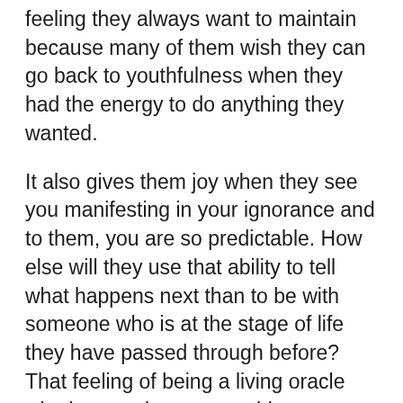feeling they always want to maintain because many of them wish they can go back to youthfulness when they had the energy to do anything they wanted.
It also gives them joy when they see you manifesting in your ignorance and to them, you are so predictable. How else will they use that ability to tell what happens next than to be with someone who is at the stage of life they have passed through before? That feeling of being a living oracle who knows almost everything young people knows is a godlike feeling and it can feel really good.